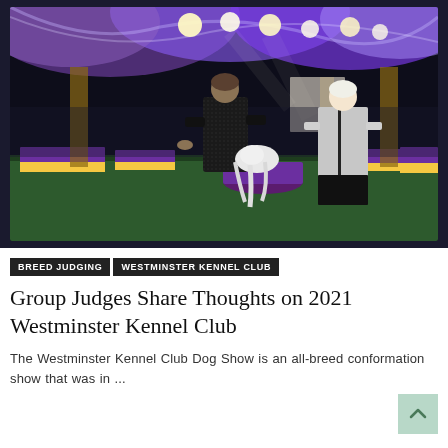[Figure (photo): Indoor dog show arena scene. A person in a black outfit is presenting a dog (appears to be a Maltese or similar long-haired white breed) on a purple platform/table, while a judge in a white/grey blazer and black skirt stands nearby. The arena has dramatic lighting with spotlights, colorful ceiling draping in purple and yellow tones, and green carpet flooring with Westminster Kennel Club branded barriers.]
BREED JUDGING   WESTMINSTER KENNEL CLUB
Group Judges Share Thoughts on 2021 Westminster Kennel Club
The Westminster Kennel Club Dog Show is an all-breed conformation show that was in ...